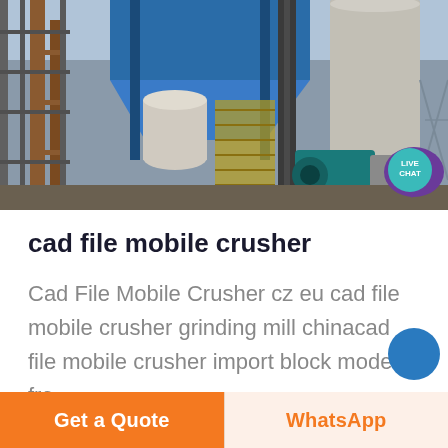[Figure (photo): Industrial facility with large blue hopper/silo structure, metal scaffolding, pipes, cylindrical concrete tower, and teal-colored machinery. Industrial crushing/milling plant exterior.]
cad file mobile crusher
Cad File Mobile Crusher cz eu cad file mobile crusher grinding mill chinacad file mobile crusher import block models fro
Get a Quote
WhatsApp